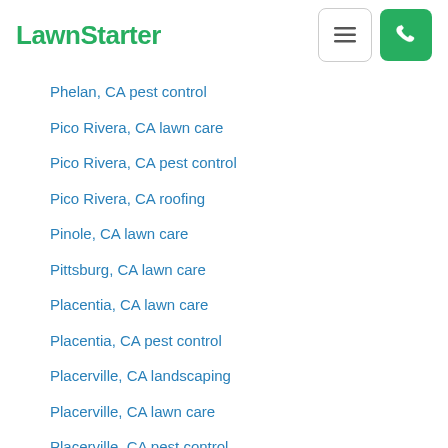LawnStarter
Phelan, CA pest control
Pico Rivera, CA lawn care
Pico Rivera, CA pest control
Pico Rivera, CA roofing
Pinole, CA lawn care
Pittsburg, CA lawn care
Placentia, CA lawn care
Placentia, CA pest control
Placerville, CA landscaping
Placerville, CA lawn care
Placerville, CA pest control
Placerville, CA pool
Playa Del Rey, CA lawn care
Playa Del Rey, CA pest control
Pleasant Hill, CA landscaping
Pleasant Hill, CA lawn care